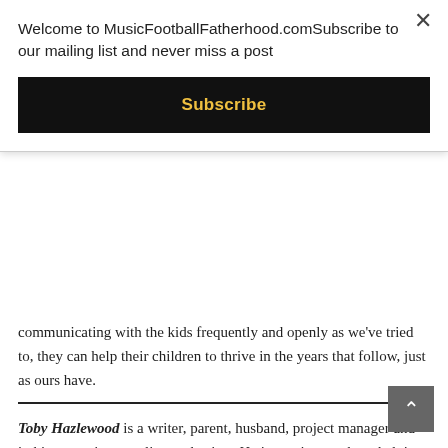Welcome to MusicFootballFatherhood.comSubscribe to our mailing list and never miss a post
Subscribe
communicating with the kids frequently and openly as we've tried to, they can help their children to thrive in the years that follow, just as ours have.
Toby Hazlewood is a writer, parent, husband, project manager and in his spare time, cycling enthusiast. He is passionate about helping others to overcome the challenges he's overcome, by sharing the things he's learned along the way. He specializes in topics including parenting and life after divorce. You can find out more about his latest projects or just say hello at tobyhazlewood.com.